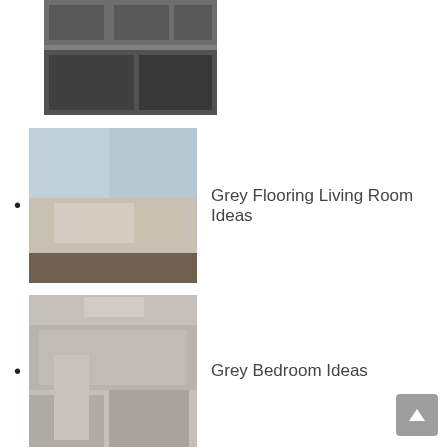[Figure (photo): Kitchen interior with grey cabinets (partially visible, top of page)]
Grey Flooring Living Room Ideas
Grey Bedroom Ideas
Master Bathroom Decor Ideas
Master Bathroom Tile Ideas